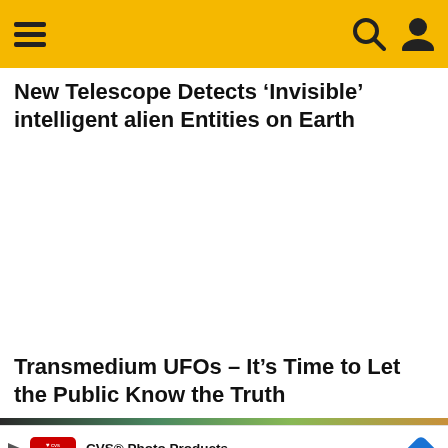Navigation header with hamburger menu, search icon, and user icon on yellow background
New Telescope Detects ‘Invisible’ intelligent alien Entities on Earth
[Figure (other): White empty advertising or content placeholder space]
Transmedium UFOs – It’s Time to Let the Public Know the Truth
[Figure (photo): Partial image strip visible at very bottom of page, appears to show some kind of landscape or underwater scene]
[Figure (other): CVS Pharmacy advertisement banner: CVS Photo Products / CVS Photo with red CVS logo and blue diamond arrow icon]